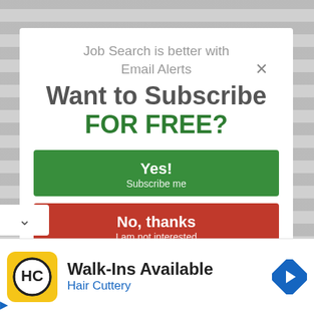Job Search is better with Email Alerts
Want to Subscribe FOR FREE?
Yes! Subscribe me
No, thanks I am not interested
[Figure (screenshot): Advertisement banner for Hair Cuttery showing Walk-Ins Available with yellow logo and navigation icon]